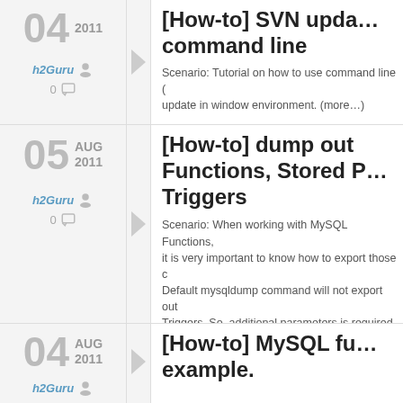04 | 2011
h2Guru
0
[How-to] SVN update command line
Scenario: Tutorial on how to use command line ( update in window environment. (more…)
05 | AUG 2011
h2Guru
0
[How-to] dump out Functions, Stored P Triggers
Scenario: When working with MySQL Functions, it is very important to know how to export those c Default mysqldump command will not export out Triggers. So, additional parameters is required. B (more…)
04 | AUG 2011
h2Guru
[How-to] MySQL fu example.